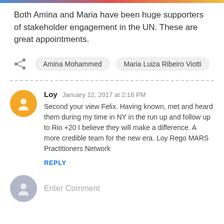Both Amina and Maria have been huge supporters of stakeholder engagement in the UN. These are great appointments.
Amina Mohammed   Maria Luiza Ribeiro Viotti
Loy  January 12, 2017 at 2:16 PM
Second your view Felix. Having known, met and heard them during my time in NY in the run up and follow up to Rio +20 I believe they will make a difference. A more credible team for the new era. Loy Rego MARS Practitioners Network
REPLY
Enter Comment